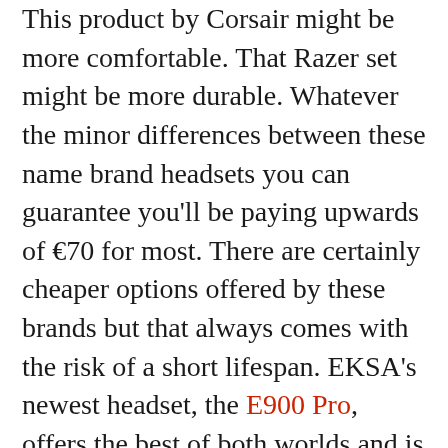This product by Corsair might be more comfortable. That Razer set might be more durable. Whatever the minor differences between these name brand headsets you can guarantee you'll be paying upwards of €70 for most. There are certainly cheaper options offered by these brands but that always comes with the risk of a short lifespan. EKSA's newest headset, the E900 Pro, offers the best of both worlds and is almost guaranteed to improve your future gaming sessions.
With that said the E900 Pro won't make you or anyone else into an expert Fortnite player overnight. A bad player is still a bad player